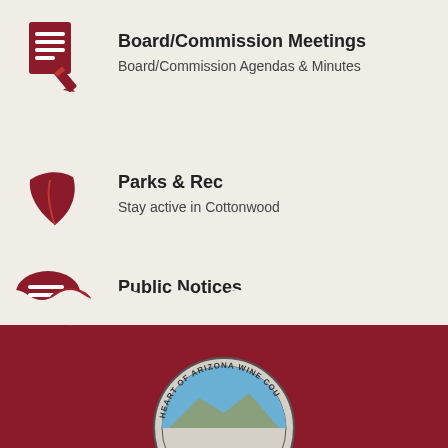Board/Commission Meetings — Board/Commission Agendas & Minutes
Parks & Rec — Stay active in Cottonwood
Public Notices — Stay Informed
[Figure (logo): City of Cottonwood seal — Heart of Arizona Wine Country, partially visible at bottom of page]